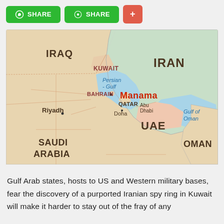[Figure (map): Map of the Middle East / Persian Gulf region showing Iraq, Kuwait, Iran, Persian Gulf, Bahrain, Manama, Qatar, Doha, Abu Dhabi, UAE, Riyadh, Saudi Arabia, Oman, Gulf of Oman]
Gulf Arab states, hosts to US and Western military bases, fear the discovery of a purported Iranian spy ring in Kuwait will make it harder to stay out of the fray of any